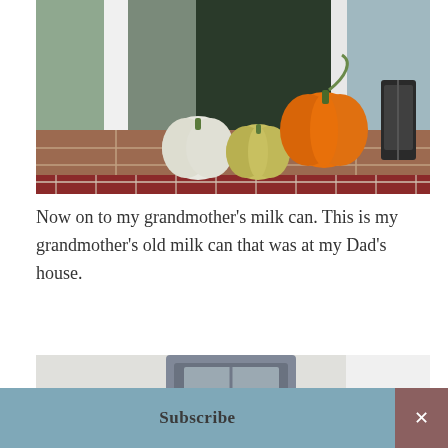[Figure (photo): A front porch entryway with three pumpkins arranged on terracotta tile steps — a white pumpkin on the left, a ribbed light-colored pumpkin in the center, and a bright orange pumpkin on the right. Red brick steps are visible at the bottom. A dark front door is in the background with a lantern to the right.]
Now on to my grandmother’s milk can. This is my grandmother’s old milk can that was at my Dad’s house.
[Figure (photo): A close-up photo showing the top of an old, weathered milk can with a gray metal lantern or decorative item placed on top of it. The milk can surface shows age and patina.]
Subscribe